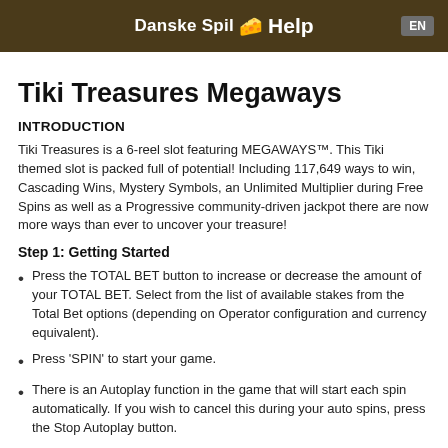Danske Spil 🧀 Help  EN
Tiki Treasures Megaways
INTRODUCTION
Tiki Treasures is a 6-reel slot featuring MEGAWAYS™. This Tiki themed slot is packed full of potential! Including 117,649 ways to win, Cascading Wins, Mystery Symbols, an Unlimited Multiplier during Free Spins as well as a Progressive community-driven jackpot there are now more ways than ever to uncover your treasure!
Step 1: Getting Started
Press the TOTAL BET button to increase or decrease the amount of your TOTAL BET. Select from the list of available stakes from the Total Bet options (depending on Operator configuration and currency equivalent).
Press 'SPIN' to start your game.
There is an Autoplay function in the game that will start each spin automatically. If you wish to cancel this during your auto spins, press the Stop Autoplay button.